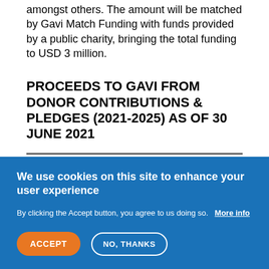amongst others. The amount will be matched by Gavi Match Funding with funds provided by a public charity, bringing the total funding to USD 3 million.
PROCEEDS TO GAVI FROM DONOR CONTRIBUTIONS & PLEDGES (2021-2025) AS OF 30 JUNE 2021
Amount in US$
We use cookies on this site to enhance your user experience
By clicking the Accept button, you agree to us doing so.   More info